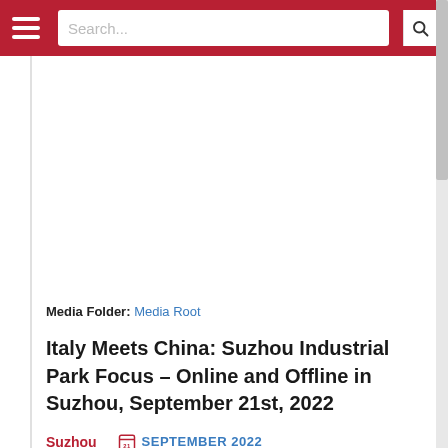Search...
Media Folder: Media Root
Italy Meets China: Suzhou Industrial Park Focus - Online and Offline in Suzhou, September 21st, 2022
Suzhou   21 SEPTEMBER 2022
Learn more